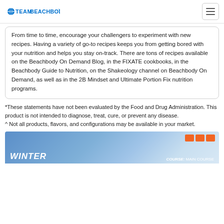TEAM BEACHBODY
From time to time, encourage your challengers to experiment with new recipes. Having a variety of go-to recipes keeps you from getting bored with your nutrition and helps you stay on-track. There are tons of recipes available on the Beachbody On Demand Blog, in the FIXATE cookbooks, in the Beachbody Guide to Nutrition, on the Shakeology channel on Beachbody On Demand, as well as in the 2B Mindset and Ultimate Portion Fix nutrition programs.
*These statements have not been evaluated by the Food and Drug Administration. This product is not intended to diagnose, treat, cure, or prevent any disease.
^ Not all products, flavors, and configurations may be available in your market.
[Figure (photo): Partial image of a recipe card with blue/winter background, orange blocks in top right, 'WINTER' text in white italic bold, and 'COURSE: MAIN COURSE' label in bottom right]